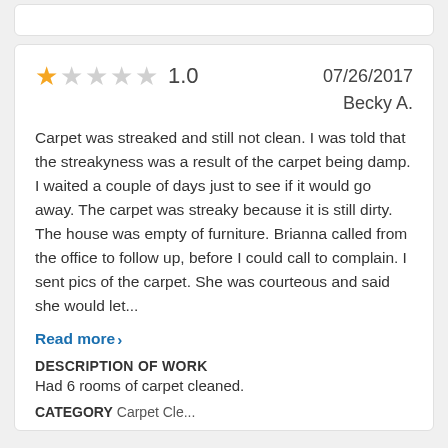1.0   07/26/2017   Becky A.
Carpet was streaked and still not clean. I was told that the streakyness was a result of the carpet being damp. I waited a couple of days just to see if it would go away. The carpet was streaky because it is still dirty. The house was empty of furniture. Brianna called from the office to follow up, before I could call to complain. I sent pics of the carpet. She was courteous and said she would let...
Read more >
DESCRIPTION OF WORK
Had 6 rooms of carpet cleaned.
CATEGORY Carpet Cle...